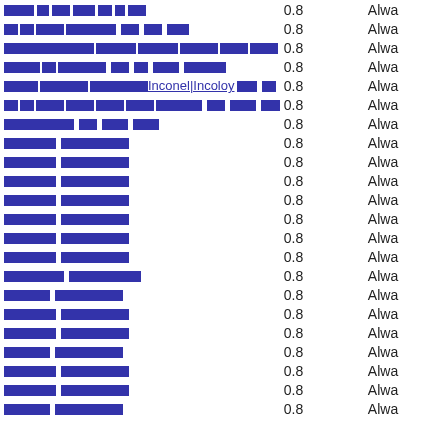| Link | Value | Status |
| --- | --- | --- |
| [redacted link] | 0.8 | Alwa |
| [redacted link] | 0.8 | Alwa |
| [redacted link] | 0.8 | Alwa |
| [redacted link] | 0.8 | Alwa |
| [redacted] Inconel|Incoloy [redacted] | 0.8 | Alwa |
| [redacted link] | 0.8 | Alwa |
| [redacted link] | 0.8 | Alwa |
| [redacted link] | 0.8 | Alwa |
| [redacted link] | 0.8 | Alwa |
| [redacted link] | 0.8 | Alwa |
| [redacted link] | 0.8 | Alwa |
| [redacted link] | 0.8 | Alwa |
| [redacted link] | 0.8 | Alwa |
| [redacted link] | 0.8 | Alwa |
| [redacted link] | 0.8 | Alwa |
| [redacted link] | 0.8 | Alwa |
| [redacted link] | 0.8 | Alwa |
| [redacted link] | 0.8 | Alwa |
| [redacted link] | 0.8 | Alwa |
| [redacted link] | 0.8 | Alwa |
| [redacted link] | 0.8 | Alwa |
| [redacted link] | 0.8 | Alwa |
| [redacted link] | 0.8 | Alwa |